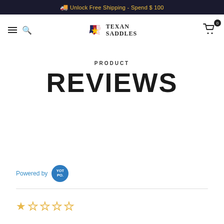🚚 Unlock Free Shipping - Spend $ 100
[Figure (logo): Texan Saddles logo with Texas state shape and navigation bar including hamburger menu, search icon, and cart icon with badge 0]
PRODUCT
REVIEWS
Powered by YOTPO.
☆☆☆☆☆ (0 out of 5 stars)